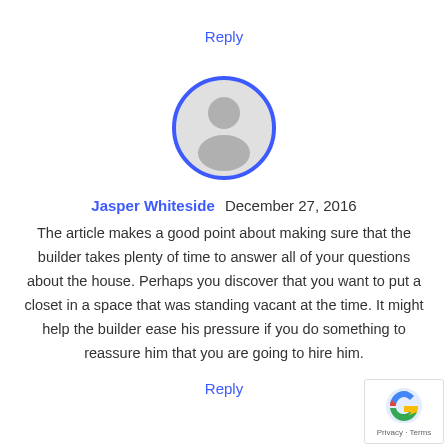Reply
[Figure (illustration): Generic user avatar: a circular icon with a dark blue border showing a gray silhouette of a person (head and shoulders)]
Jasper Whiteside  December 27, 2016
The article makes a good point about making sure that the builder takes plenty of time to answer all of your questions about the house. Perhaps you discover that you want to put a closet in a space that was standing vacant at the time. It might help the builder ease his pressure if you do something to reassure him that you are going to hire him.
Reply